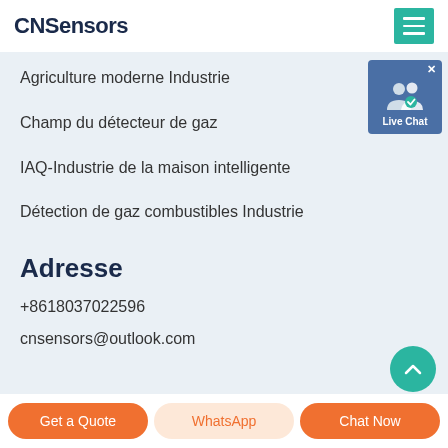CNSensors
Agriculture moderne Industrie
Champ du détecteur de gaz
IAQ-Industrie de la maison intelligente
Détection de gaz combustibles Industrie
Adresse
+8618037022596
cnsensors@outlook.com
[Figure (screenshot): Live Chat widget with user icon and badge]
Get a Quote | WhatsApp | Chat Now